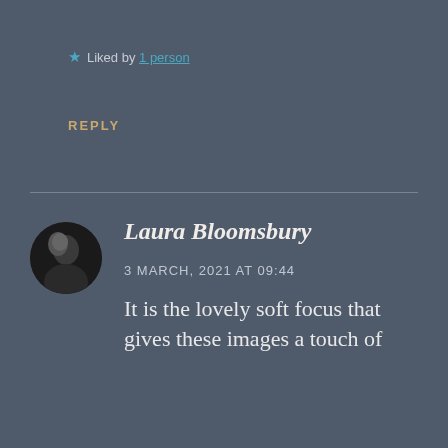★ Liked by 1 person
REPLY
Laura Bloomsbury
3 MARCH, 2021 AT 09:44
It is the lovely soft focus that gives these images a touch of